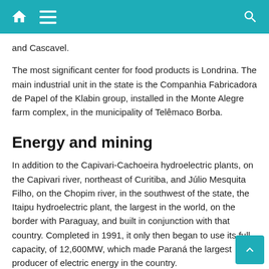Navigation bar with home, menu, and search icons
and Cascavel.
The most significant center for food products is Londrina. The main industrial unit in the state is the Companhia Fabricadora de Papel of the Klabin group, installed in the Monte Alegre farm complex, in the municipality of Telêmaco Borba.
Energy and mining
In addition to the Capivari-Cachoeira hydroelectric plants, on the Capivari river, northeast of Curitiba, and Júlio Mesquita Filho, on the Chopim river, in the southwest of the state, the Itaipu hydroelectric plant, the largest in the world, on the border with Paraguay, and built in conjunction with that country. Completed in 1991, it only then began to use its full capacity, of 12,600MW, which made Paraná the largest producer of electric energy in the country.